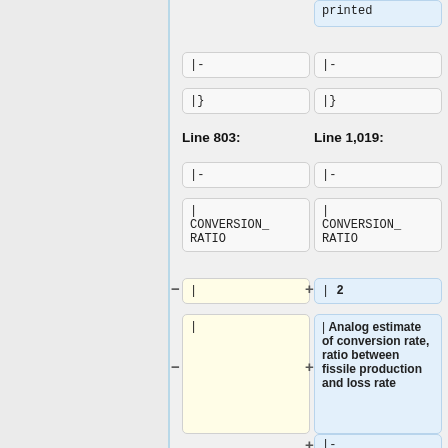printed
|-
|}
|-
|}
Line 803:
Line 1,019:
|-
|-
| CONVERSION_ RATIO
| CONVERSION_ RATIO
| (removed)
| 2
| (empty)
| Analog estimate of conversion rate, ratio between fissile production and loss rate
|-